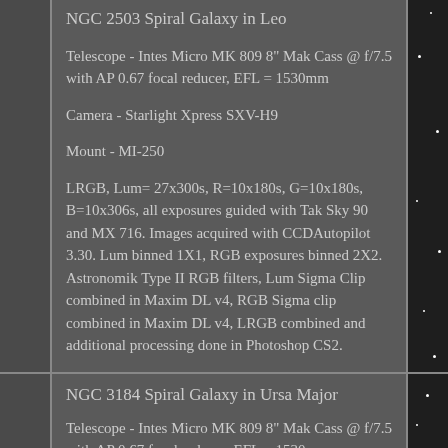NGC 2503 Spiral Galaxy in Leo
Telescope - Intes Micro MK 809 8" Mak Cass @ f/7.5 with AP 0.67 focal reducer, EFL = 1530mm
Camera - Starlight Xpress SXV-H9
Mount - MI-250
LRGB, Lum= 27x300s, R=10x180s, G=10x180s, B=10x306s, all exposures guided with Tak Sky 90 and MX 716. Images acquired with CCDAutopilot 3.30. Lum binned 1X1, RGB exposures binned 2X2. Astronomik Type II RGB filters, Lum Sigma Clip combined in Maxim DL v4, RGB Sigma clip combined in Maxim DL v4, LRGB combined and additional processing done in Photoshop CS2.
Date - January 20, 2007
NGC 3184 Spiral Galaxy in Ursa Major
Telescope - Intes Micro MK 809 8" Mak Cass @ f/7.5 with AP 0.67 focal reducer, EFL = 1530mm